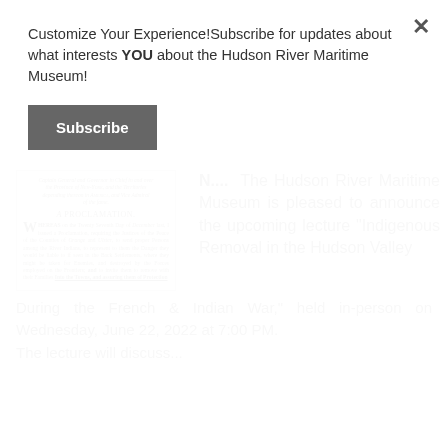Customize Your Experience!Subscribe for updates about what interests YOU about the Hudson River Maritime Museum!
[Figure (other): Subscribe button (dark gray rectangular button with white bold text 'Subscribe')]
[Figure (illustration): Scanned image of a historical proclamation document showing text about Captain General and Governor in Chief of the Province of New-York, titled 'A PROCLAMATION' beginning with 'WHEREAS on the Twenty Seventh Day of December last...' regarding River Indians and the French & Indian War.]
The Hudson River Maritime Museum is pleased to announce the upcoming lecture "Indigenous Removal in the Hudson Valley During the French & Indian War," held in-person on Wednesday, June 22, 2022 at 7:00 PM.
The lecture will discuss...